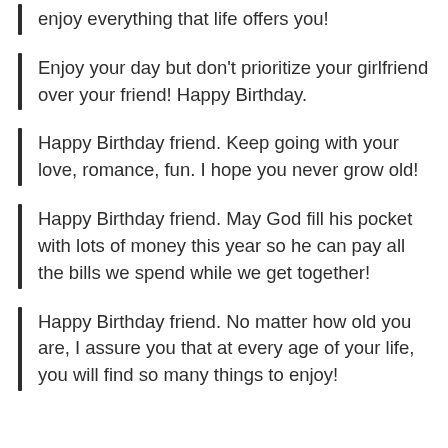enjoy everything that life offers you!
Enjoy your day but don't prioritize your girlfriend over your friend! Happy Birthday.
Happy Birthday friend. Keep going with your love, romance, fun. I hope you never grow old!
Happy Birthday friend. May God fill his pocket with lots of money this year so he can pay all the bills we spend while we get together!
Happy Birthday friend. No matter how old you are, I assure you that at every age of your life, you will find so many things to enjoy!